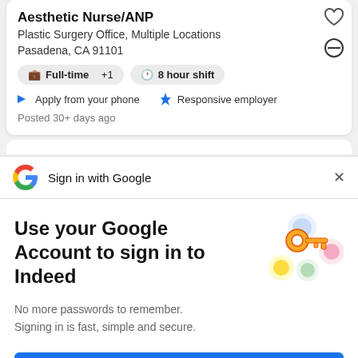Aesthetic Nurse/ANP
Plastic Surgery Office, Multiple Locations
Pasadena, CA 91101
Full-time +1
8 hour shift
Apply from your phone
Responsive employer
Posted 30+ days ago
Sign in with Google
Use your Google Account to sign in to Indeed
No more passwords to remember.
Signing in is fast, simple and secure.
Continue